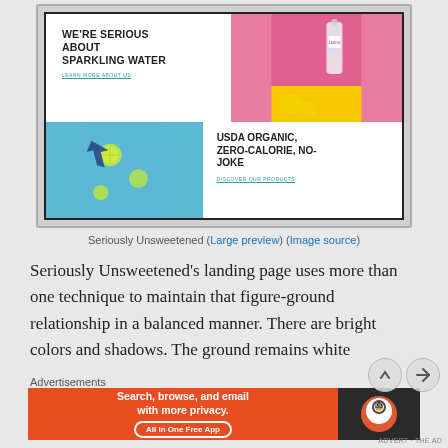[Figure (screenshot): Screenshot of the Seriously Unsweetened website landing page showing two sections: top section with bold text 'WE'RE SERIOUS ABOUT SPARKLING WATER' and a pink/yellow background with a sparkling water bottle and lemon; bottom section with light blue background showing floating lemon slices and bold text 'USDA ORGANIC, ZERO-CALORIE, NO-JOKE' with 'DISCOVER OUR PRODUCTS' link.]
Seriously Unsweetened (Large preview) (Image source)
Seriously Unsweetened’s landing page uses more than one technique to maintain that figure-ground relationship in a balanced manner. There are bright colors and shadows. The ground remains white
Advertisements
[Figure (screenshot): DuckDuckGo advertisement banner: orange left side reading 'Search, browse, and email with more privacy. All in One Free App' with a dark right side showing the DuckDuckGo duck logo.]